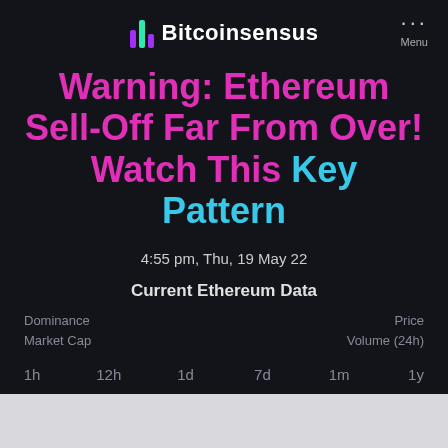Bitcoinsensus
Warning: Ethereum Sell-Off Far From Over! Watch This Key Pattern
4:55 pm, Thu, 19 May 22
Current Ethereum Data
| Dominance | Price | Market Cap | Volume (24h) |
| --- | --- | --- | --- |
1h   12h   1d   7d   1m   1y